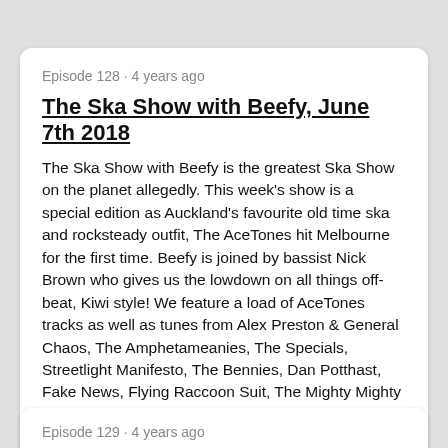Episode 128 · 4 years ago
The Ska Show with Beefy, June 7th 2018
The Ska Show with Beefy is the greatest Ska Show on the planet allegedly. This week's show is a special edition as Auckland's favourite old time ska and rocksteady outfit, The AceTones hit Melbourne for the first time. Beefy is joined by bassist Nick Brown who gives us the lowdown on all things off-beat, Kiwi style! We feature a load of AceTones tracks as well as tunes from Alex Preston & General Chaos, The Amphetameanies, The Specials, Streetlight Manifesto, The Bennies, Dan Potthast, Fake News, Flying Raccoon Suit, The Mighty Mighty Bosstones, Strange Tenants, The King Blues, Call Me Malcolm, The Funaddicts, The
LISTEN NOW
Episode 129 · 4 years ago